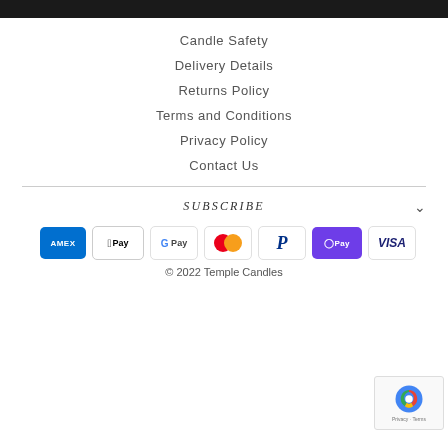Candle Safety
Delivery Details
Returns Policy
Terms and Conditions
Privacy Policy
Contact Us
SUBSCRIBE
[Figure (other): Payment method icons: American Express, Apple Pay, Google Pay, Mastercard, PayPal, OPay, Visa]
© 2022 Temple Candles